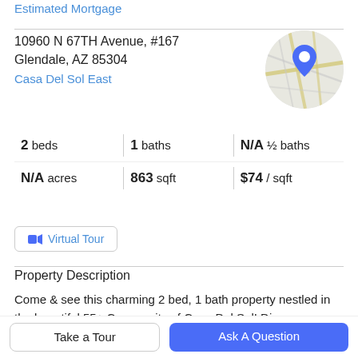Estimated Mortgage
10960 N 67TH Avenue, #167
Glendale, AZ 85304
Casa Del Sol East
[Figure (map): Circular map thumbnail showing street map with blue location pin marker]
2 beds | 1 baths | N/A ½ baths | N/A acres | 863 sqft | $74 / sqft
Virtual Tour
Property Description
Come & see this charming 2 bed, 1 bath property nestled in the beautiful 55+ Community of Casa Del Sol! Discover
Take a Tour
Ask A Question
welcoming living area featuring gorgeous tiles. Carpet i